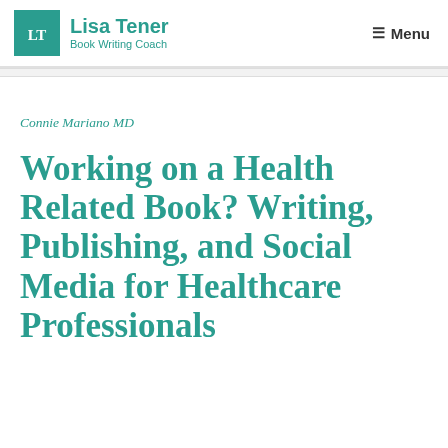Lisa Tener | Book Writing Coach
Connie Mariano MD
Working on a Health Related Book? Writing, Publishing, and Social Media for Healthcare Professionals